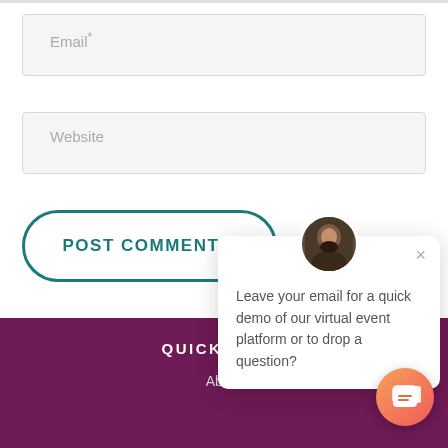Email*
Website
POST COMMENT »
[Figure (screenshot): Chat popup with avatar photo showing a man with a beard, a close button (×), and the message: Leave your email for a quick demo of our virtual event platform or to drop a question?]
QUICK LINKS
About
[Figure (other): Orange chat FAB button at bottom right with speech bubble icon]